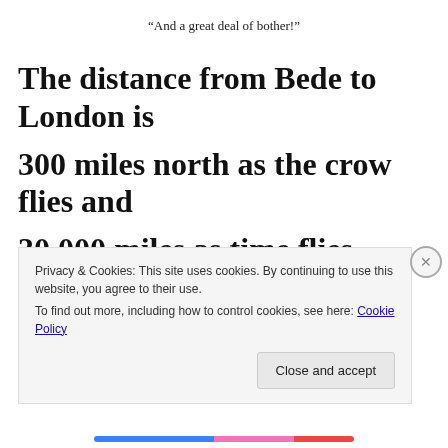“And a great deal of bother!”
The distance from Bede to London is 300 miles north as the crow flies and 30,000 miles as time flies.
Sarah Goodman’s kitchen in the village of Bede radiated with spectral light that emanated from a small
Privacy & Cookies: This site uses cookies. By continuing to use this website, you agree to their use.
To find out more, including how to control cookies, see here: Cookie Policy
Close and accept